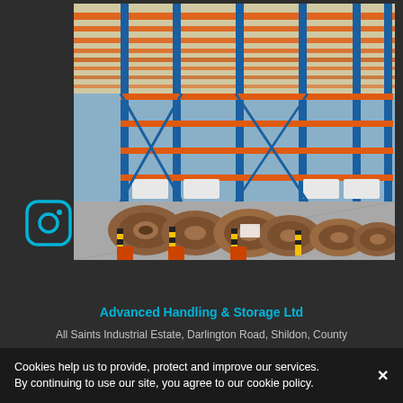[Figure (photo): Warehouse interior with tall blue steel racking systems and orange beams. Large wooden cable reels/drums are stored on the floor between the racking bays. White label placards visible on the racks. Yellow and black safety bollards at the base of the racks.]
[Figure (logo): Instagram logo icon - rounded square outline with camera icon inside, in cyan/teal color]
Advanced Handling & Storage Ltd
All Saints Industrial Estate, Darlington Road, Shildon, County
Cookies help us to provide, protect and improve our services. By continuing to use our site, you agree to our cookie policy.  ✕